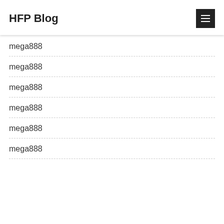HFP Blog
mega888
mega888
mega888
mega888
mega888
mega888